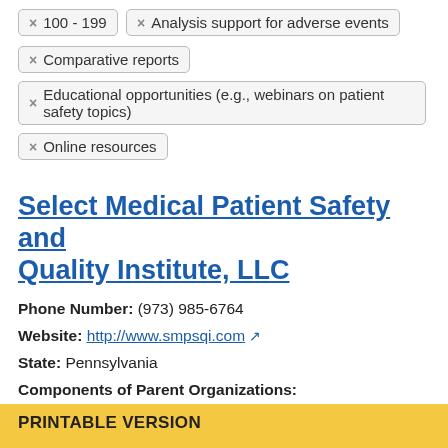× 100 - 199
× Analysis support for adverse events
× Comparative reports
× Educational opportunities (e.g., webinars on patient safety topics)
× Online resources
Select Medical Patient Safety and Quality Institute, LLC
Phone Number: (973) 985-6764
Website: http://www.smpsqi.com
State: Pennsylvania
Components of Parent Organizations:
Select Medical Corporation
Select Medical Holdings Corporation
Back to Top
PRINTABLE VERSION